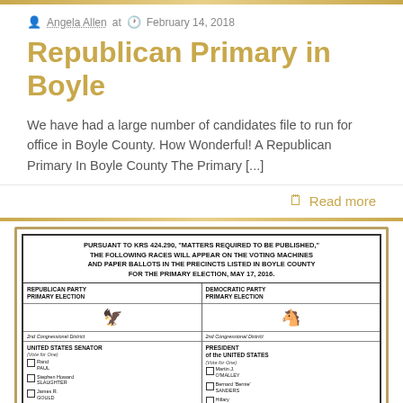Angela Allen at  February 14, 2018
Republican Primary in Boyle
We have had a large number of candidates file to run for office in Boyle County. How Wonderful! A Republican Primary In Boyle County The Primary [...]
Read more
[Figure (photo): Photograph of an official Boyle County Primary Election ballot document showing Republican Party and Democratic Party primary election candidates for the May 17, 2016 primary election, including United States Senator candidates (Rand Paul, Stephen Howard Slaughter, James R. Gould), State Senator candidates (Divi Moss, Bill Curtis), and Democratic Party President candidates (Martin J. O'Malley, Bernard 'Bernie' Sanders, Hillary Clinton, Roque Rocky De La Fuente, 'Uncommitted').]